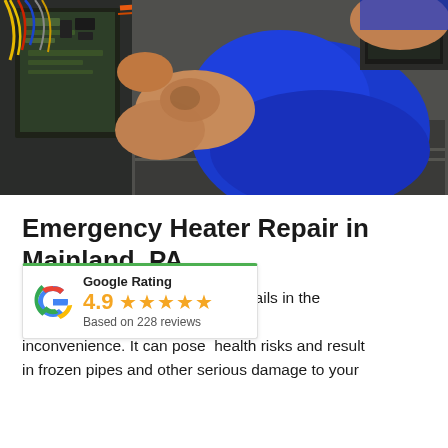[Figure (photo): A technician in a blue shirt with tattoos on his arm is working on an HVAC or furnace unit, with wires and circuit board visible on the left side. An orange cable runs across the top of the equipment.]
Emergency Heater Repair in Mainland, PA
[Figure (infographic): Google Rating widget showing 4.9 stars based on 228 reviews, with the Google G logo in red, yellow, green and blue.]
A [heater/boiler] that fails in the m[iddle of winter is more] than just an inconvenience. It can pose health risks and result in frozen pipes and other serious damage to your